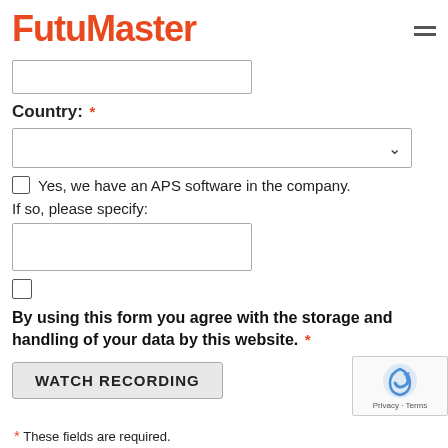FuturMaster
Country: *
Yes, we have an APS software in the company.
If so, please specify:
By using this form you agree with the storage and handling of your data by this website. *
WATCH RECORDING
* These fields are required.